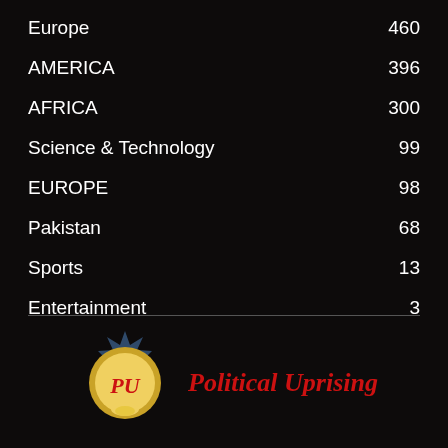Europe 460
AMERICA 396
AFRICA 300
Science & Technology 99
EUROPE 98
Pakistan 68
Sports 13
Entertainment 3
[Figure (logo): Political Uprising logo: gold starburst badge with PV monogram in red gothic lettering, beside bold red italic text 'Political Uprising']